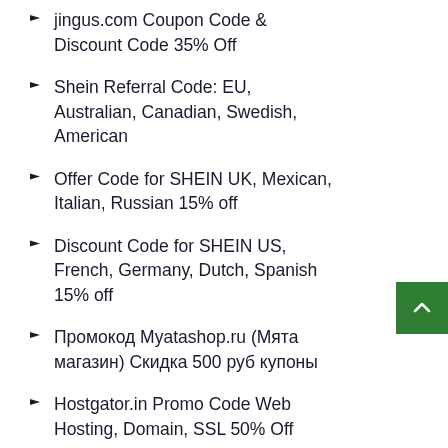jingus.com Coupon Code & Discount Code 35% Off
Shein Referral Code: EU, Australian, Canadian, Swedish, American
Offer Code for SHEIN UK, Mexican, Italian, Russian 15% off
Discount Code for SHEIN US, French, Germany, Dutch, Spanish 15% off
Промокод Myatashop.ru (Мята магазин) Скидка 500 руб купоны
Hostgator.in Promo Code Web Hosting, Domain, SSL 50% Off
SugarCosmetic Promo code india Get Offer 50% + Extra 10%
Desertcart.ae promo code get offer 20% Off SiteWide
Healthkart promo code get offer